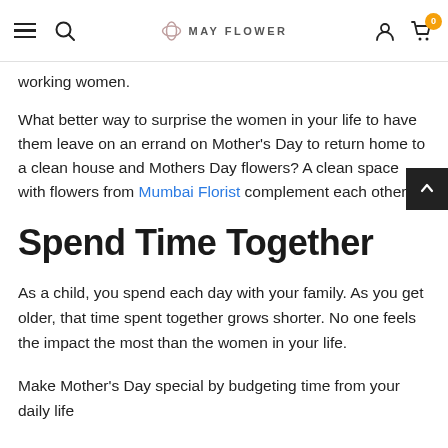MAY FLOWER — navigation header with hamburger menu, search, logo, account, and cart (0 items)
working women.
What better way to surprise the women in your life to have them leave on an errand on Mother's Day to return home to a clean house and Mothers Day flowers? A clean space with flowers from Mumbai Florist complement each other.
Spend Time Together
As a child, you spend each day with your family. As you get older, that time spent together grows shorter. No one feels the impact the most than the women in your life.
Make Mother's Day special by budgeting time from your daily life